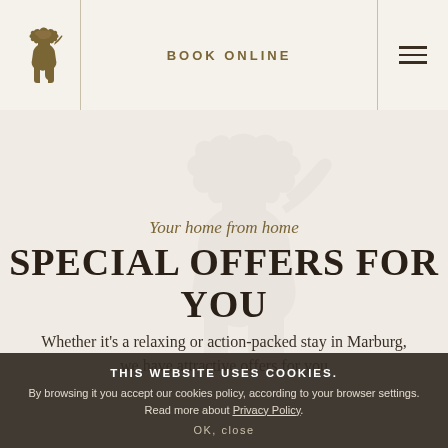[Figure (logo): Rampant lion logo in golden-brown color]
BOOK ONLINE
[Figure (other): Hamburger menu icon (three horizontal lines)]
[Figure (illustration): Large watermark rampant lion in light grey]
Your home from home
SPECIAL OFFERS FOR YOU
Whether it’s a relaxing or action-packed stay in Marburg, we have attractive offers for you
THIS WEBSITE USES COOKIES. By browsing it you accept our cookies policy, according to your browser settings. Read more about Privacy Policy. OK, close